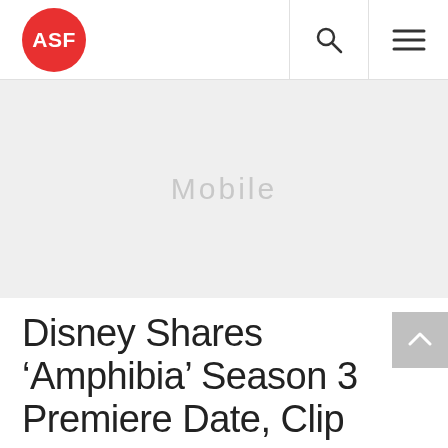ASF
[Figure (other): Advertisement placeholder area with light gray background and watermark text 'Mobile']
Disney Shares ‘Amphibia’ Season 3 Premiere Date, Clip